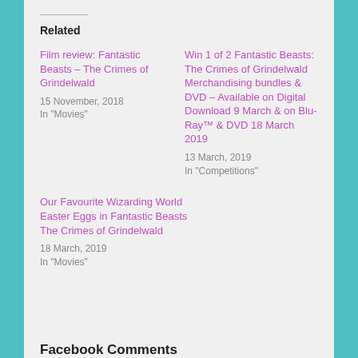Related
Film review: Fantastic Beasts – The Crimes of Grindelwald
15 November, 2018
In "Movies"
Win 1 of 2 Fantastic Beasts: The Crimes of Grindelwald Merchandising bundles & DVD – Available on Digital Download 9 March & on Blu-Ray™ & DVD 18 March 2019
13 March, 2019
In "Competitions"
Our Favourite Wizarding World Easter Eggs in Fantastic Beasts The Crimes of Grindelwald
18 March, 2019
In "Movies"
Facebook Comments